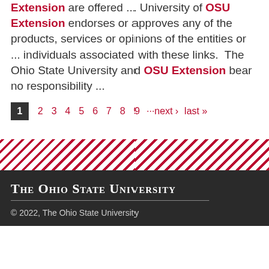Extension are offered ... University of OSU Extension endorses or approves any of the products, services or opinions of the entities or ... individuals associated with these links.  The Ohio State University and OSU Extension bear no responsibility ...
1  2  3  4  5  6  7  8  9  ···next ›  last »
[Figure (other): Diagonal red and white stripe decorative banner]
The Ohio State University
© 2022, The Ohio State University